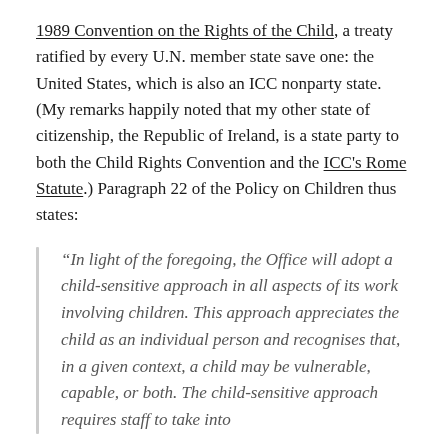1989 Convention on the Rights of the Child, a treaty ratified by every U.N. member state save one: the United States, which is also an ICC nonparty state. (My remarks happily noted that my other state of citizenship, the Republic of Ireland, is a state party to both the Child Rights Convention and the ICC's Rome Statute.) Paragraph 22 of the Policy on Children thus states:
“In light of the foregoing, the Office will adopt a child-sensitive approach in all aspects of its work involving children. This approach appreciates the child as an individual person and recognises that, in a given context, a child may be vulnerable, capable, or both. The child-sensitive approach requires staff to take into